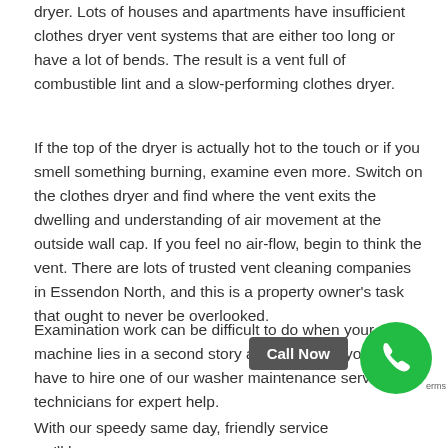dryer. Lots of houses and apartments have insufficient clothes dryer vent systems that are either too long or have a lot of bends. The result is a vent full of combustible lint and a slow-performing clothes dryer.
If the top of the dryer is actually hot to the touch or if you smell something burning, examine even more. Switch on the clothes dryer and find where the vent exits the dwelling and understanding of air movement at the outside wall cap. If you feel no air-flow, begin to think the vent. There are lots of trusted vent cleaning companies in Essendon North, and this is a property owner's task that ought to never be overlooked.
Examination work can be difficult to do when your machine lies in a second story apartment, so you might have to hire one of our washer maintenance service technicians for expert help.
With our speedy same day, friendly service we'll have your